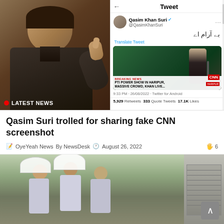[Figure (photo): Left: Photo of Qasim Suri giving thumbs up in formal attire with a painting behind him. Right: Screenshot of a tweet by Qasim Khan Suri (@QasimKhanSuri) with Urdu text, showing an embedded CNN screenshot of PTI power show in Haripur with Imran Khan. Tweet stats: 5,929 Retweets, 333 Quote Tweets, 17.1K Likes. Posted 9:33 PM 26/08/2022 via Twitter for Android. 'LATEST NEWS' badge visible on the photo.]
Qasim Suri trolled for sharing fake CNN screenshot
OyeYeah News  By NewsDesk  August 26, 2022  6
[Figure (photo): Photo of three young school girls smiling, holding umbrellas, with a market/street scene in background.]